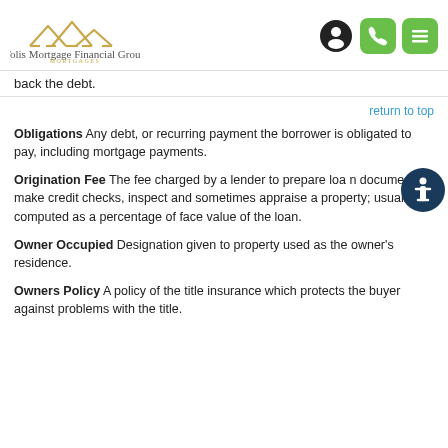[Figure (logo): Tolis Mortgage Financial Group logo with house roofline icon and text]
back the debt.
return to top
Obligations Any debt, or recurring payment the borrower is obligated to pay, including mortgage payments.
Origination Fee The fee charged by a lender to prepare loan documents, make credit checks, inspect and sometimes appraise a property; usually computed as a percentage of face value of the loan.
Owner Occupied Designation given to property used as the owner's residence.
Owners Policy A policy of the title insurance which protects the buyer against problems with the title.